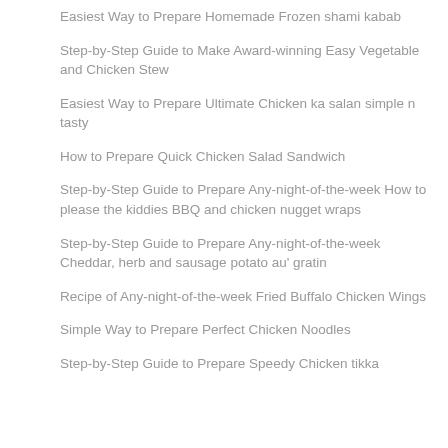Easiest Way to Prepare Homemade Frozen shami kabab
Step-by-Step Guide to Make Award-winning Easy Vegetable and Chicken Stew
Easiest Way to Prepare Ultimate Chicken ka salan simple n tasty
How to Prepare Quick Chicken Salad Sandwich
Step-by-Step Guide to Prepare Any-night-of-the-week How to please the kiddies BBQ and chicken nugget wraps
Step-by-Step Guide to Prepare Any-night-of-the-week Cheddar, herb and sausage potato au' gratin
Recipe of Any-night-of-the-week Fried Buffalo Chicken Wings
Simple Way to Prepare Perfect Chicken Noodles
Step-by-Step Guide to Prepare Speedy Chicken tikka